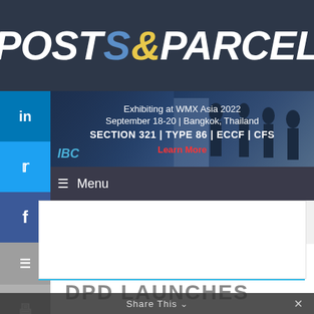POST & PARCEL
[Figure (screenshot): IBC banner advertisement: Exhibiting at WMX Asia 2022, September 18-20 | Bangkok, Thailand. SECTION 321 | TYPE 86 | ECCF | CFS. Learn More button.]
Menu
[Figure (screenshot): HypaShip banner advertisement: Post, Parcel & Logistics Technology from the Experts. HypaShip logo with box icon.]
DPD LAUNCHES
Share This